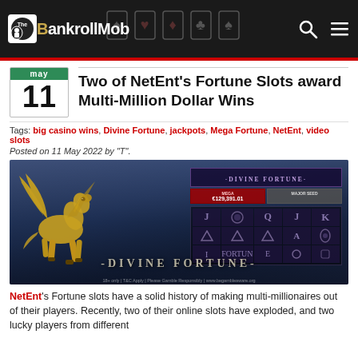The BankrollMob
Two of NetEnt's Fortune Slots award Multi-Million Dollar Wins
Tags: big casino wins, Divine Fortune, jackpots, Mega Fortune, NetEnt, video slots
Posted on 11 May 2022 by "T".
[Figure (photo): Divine Fortune slot machine game screenshot showing the slot reels with J, Q, K symbols and a golden winged horse (Pegasus) on the left. The game title 'DIVINE FORTUNE' appears at bottom. Mega jackpot amount shown as €129,391.01.]
NetEnt's Fortune slots have a solid history of making multi-millionaires out of their players. Recently, two of their online slots have exploded, and two lucky players from different